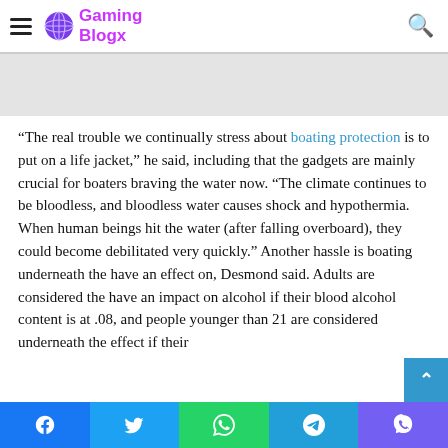Gaming Blogx
“The real trouble we continually stress about boating protection is to put on a life jacket,” he said, including that the gadgets are mainly crucial for boaters braving the water now. “The climate continues to be bloodless, and bloodless water causes shock and hypothermia. When human beings hit the water (after falling overboard), they could become debilitated very quickly.” Another hassle is boating underneath the have an effect on, Desmond said. Adults are considered the have an impact on alcohol if their blood alcohol content is at .08, and people younger than 21 are considered underneath the effect if their
Facebook | Twitter | WhatsApp | Telegram | Viber